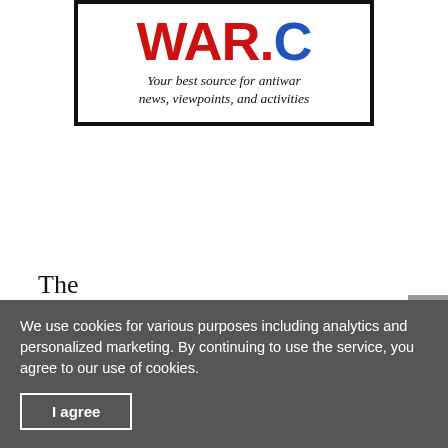[Figure (logo): Antiwar.com logo box with red 'WAR.' text and blue '.C' text, tagline: 'Your best source for antiwar news, viewpoints, and activities', inside a thick black border]
[Figure (logo): The Libertarian Institute logo with 'The' in serif, 'LIBERTARIAN' in large bold serif, horizontal divider line, 'INSTITUTE' in large bold serif]
We use cookies for various purposes including analytics and personalized marketing. By continuing to use the service, you agree to our use of cookies.
I agree